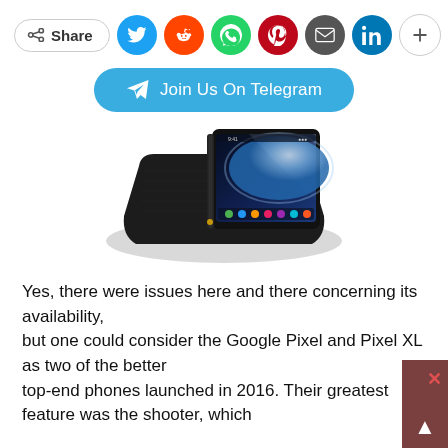[Figure (infographic): Social share bar with Share button, Twitter, Reddit, WhatsApp, Pinterest, Email, LinkedIn, and More (+) circles]
[Figure (infographic): Telegram join button with paper plane icon, teal/blue rounded rectangle, text: Join Us On Telegram]
[Figure (photo): Google Pixel smartphone partially open on a black leather case/portfolio, showing the phone screen with Android UI and a blue planet wallpaper]
Yes, there were issues here and there concerning its availability, but one could consider the Google Pixel and Pixel XL as two of the better top-end phones launched in 2016. Their greatest feature was the shooter, which